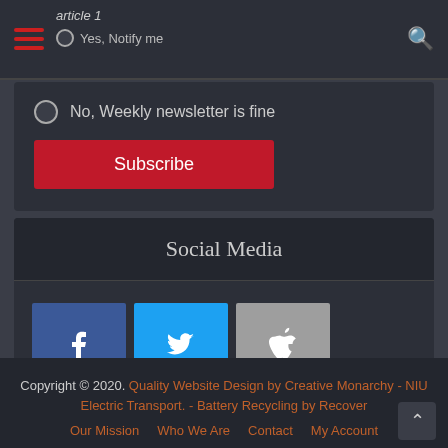article 1 | Yes, Notify me
No, Weekly newsletter is fine
Subscribe
Social Media
[Figure (infographic): Five social media icon buttons: Facebook (blue), Twitter (light blue), Apple (grey), RSS (orange), Fire/Hotlink (yellow)]
Copyright © 2020. Quality Website Design by Creative Monarchy - NIU Electric Transport. - Battery Recycling by Recover | Our Mission  Who We Are  Contact  My Account